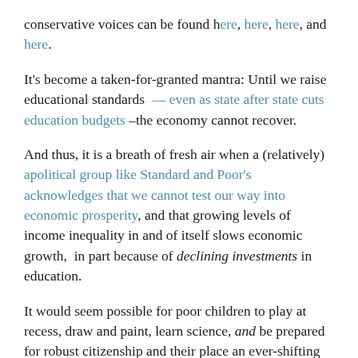conservative voices can be found here, here, here, and here.
It's become a taken-for-granted mantra: Until we raise educational standards — even as state after state cuts education budgets –the economy cannot recover.
And thus, it is a breath of fresh air when a (relatively) apolitical group like Standard and Poor's acknowledges that we cannot test our way into economic prosperity, and that growing levels of income inequality in and of itself slows economic growth, in part because of declining investments in education.
It would seem possible for poor children to play at recess, draw and paint, learn science, and be prepared for robust citizenship and their place an ever-shifting workforce in